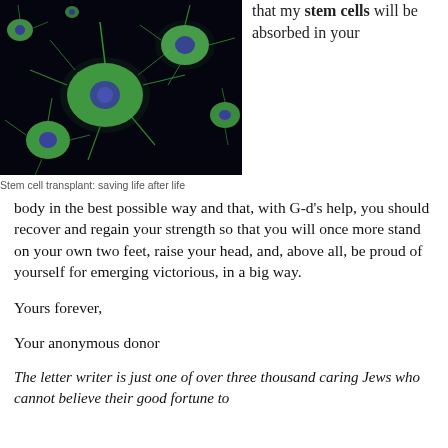[Figure (photo): Fluorescence microscopy image of stem cells against a dark background, showing green cell bodies with blue nuclei and extended projections.]
Stem cell transplant: saving life after life
that my stem cells will be absorbed in your body in the best possible way and that, with G-d's help, you should recover and regain your strength so that you will once more stand on your own two feet, raise your head, and, above all, be proud of yourself for emerging victorious, in a big way.
Yours forever,
Your anonymous donor
The letter writer is just one of over three thousand caring Jews who cannot believe their good fortune to